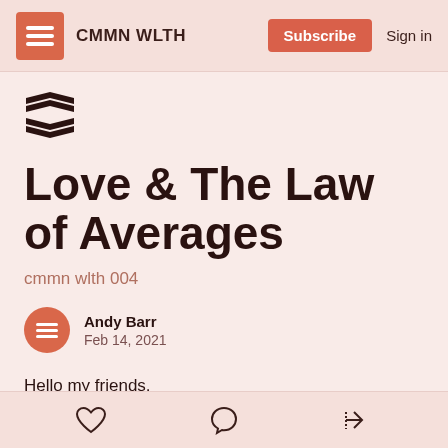CMMN WLTH  Subscribe  Sign in
Love & The Law of Averages
cmmn wlth 004
Andy Barr
Feb 14, 2021
Hello my friends,
Happy Year of the Ox and of course, Happy Valentines Day!